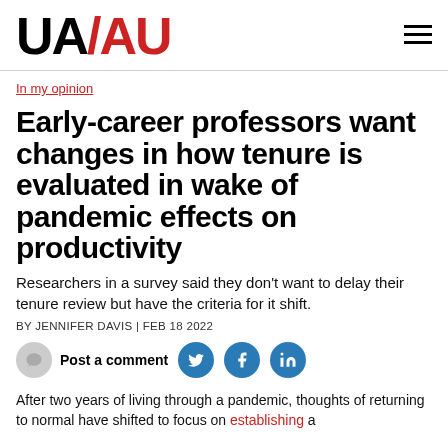UA/AU logo and navigation
In my opinion
Early-career professors want changes in how tenure is evaluated in wake of pandemic effects on productivity
Researchers in a survey said they don't want to delay their tenure review but have the criteria for it shift.
BY JENNIFER DAVIS | FEB 18 2022
Post a comment [social share icons: Twitter, Facebook, LinkedIn]
After two years of living through a pandemic, thoughts of returning to normal have shifted to focus on establishing a